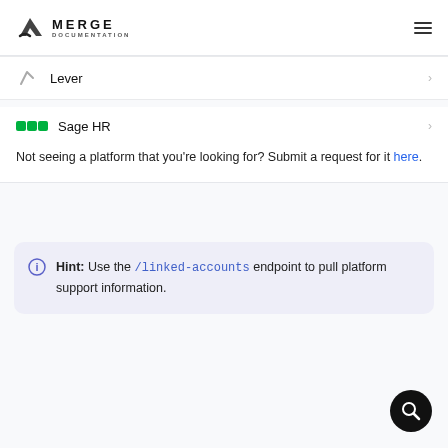MERGE DOCUMENTATION
Lever
Sage HR
Not seeing a platform that you're looking for? Submit a request for it here.
Hint: Use the /linked-accounts endpoint to pull platform support information.